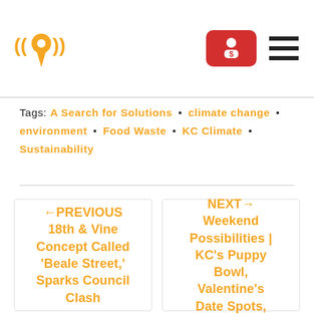[Figure (logo): Radio/podcast logo: orange location pin with radio wave symbols on either side]
Tags: A Search for Solutions • climate change • environment • Food Waste • KC Climate • Sustainability
←PREVIOUS 18th & Vine Concept Called 'Beale Street,' Sparks Council Clash
NEXT→ Weekend Possibilities | KC's Puppy Bowl, Valentine's Date Spots,